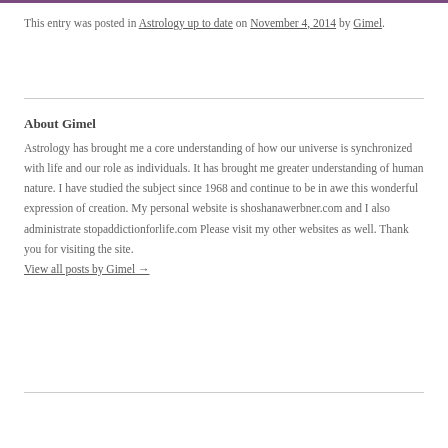This entry was posted in Astrology up to date on November 4, 2014 by Gimel.
About Gimel
Astrology has brought me a core understanding of how our universe is synchronized with life and our role as individuals. It has brought me greater understanding of human nature. I have studied the subject since 1968 and continue to be in awe this wonderful expression of creation. My personal website is shoshanawerbner.com and I also administrate stopaddictionforlife.com Please visit my other websites as well. Thank you for visiting the site.
View all posts by Gimel →